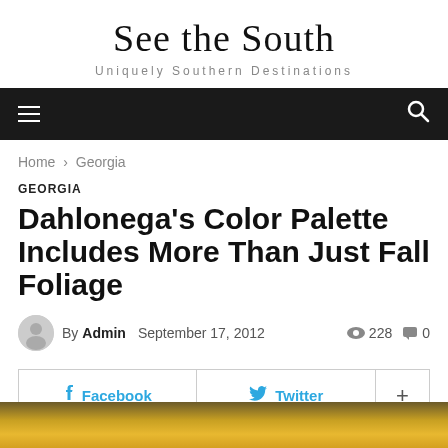See the South
Uniquely Southern Destinations
Home › Georgia
GEORGIA
Dahlonega's Color Palette Includes More Than Just Fall Foliage
By Admin  September 17, 2012  👁 228  💬 0
Facebook  Twitter  +
[Figure (photo): Bottom strip showing colorful fall foliage photo, yellow and golden tones]